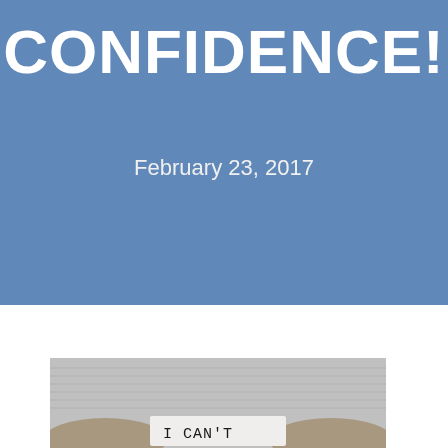CONFIDENCE!
February 23, 2017
[Figure (photo): Black and white photo of hands holding a piece of paper that reads 'I CAN'T' — presumably about to change it to 'I CAN']